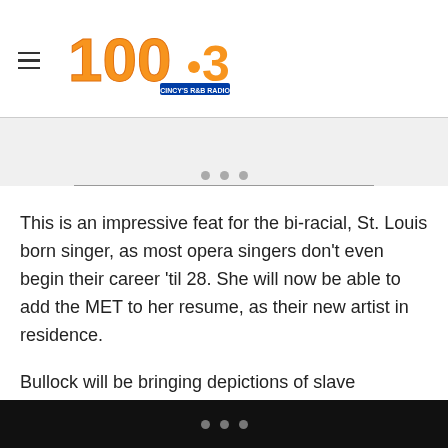100.3 CINCY'S R&B RADIO
This is an impressive feat for the bi-racial, St. Louis born singer, as most opera singers don't even begin their career 'til 28. She will now be able to add the MET to her resume, as their new artist in residence.
Bullock will be bringing depictions of slave narratives, the